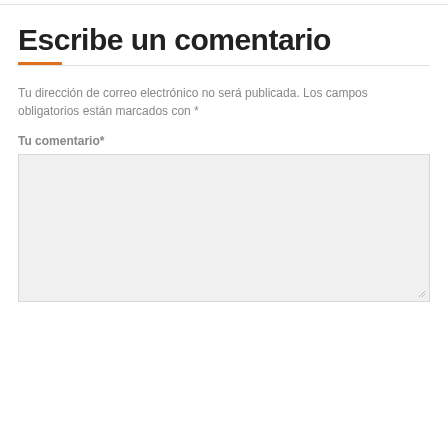Escribe un comentario
Tu dirección de correo electrónico no será publicada. Los campos obligatorios están marcados con *
Tu comentario*